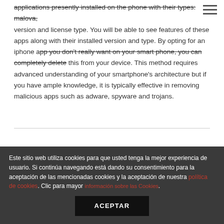applications presently installed on the phone with their types: malova, version and license type. You will be able to see features of these apps along with their installed version and type. By opting for an iphone app you don't really want on your smart phone, you can completely delete this from your device. This method requires advanced understanding of your smartphone's architecture but if you have ample knowledge, it is typically effective in removing malicious apps such as adware, spyware and trojans.
PUBLICADO EN SIN CATEGORÍA
Este sitio web utiliza cookies para que usted tenga la mejor experiencia de usuario. Si continúa navegando está dando su consentimiento para la aceptación de las mencionadas cookies y la aceptación de nuestra política de cookies. Clic para mayor información sobre las Cookies.